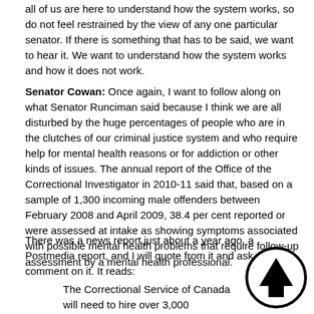all of us are here to understand how the system works, so do not feel restrained by the view of any one particular senator. If there is something that has to be said, we want to hear it. We want to understand how the system works and how it does not work.
Senator Cowan: Once again, I want to follow along on what Senator Runciman said because I think we are all disturbed by the huge percentages of people who are in the clutches of our criminal justice system and who require help for mental health reasons or for addiction or other kinds of issues. The annual report of the Office of the Correctional Investigator in 2010-11 said that, based on a sample of 1,300 incoming male offenders between February 2008 and April 2009, 38.4 per cent reported or were assessed at intake as showing symptoms associated with possible mental health problems that require follow-up assessment by a mental health professional.
There was a news report just about a year ago, a Postmedia report, and I will quote from it and ask you to comment on it. It reads:
The Correctional Service of Canada will need to hire over 3,000 employees to handle an influx of 4,000 new federal inmates anticipated under the Conservative's tough-on-crime strategy